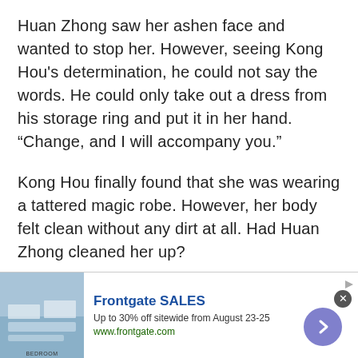Huan Zhong saw her ashen face and wanted to stop her. However, seeing Kong Hou's determination, he could not say the words. He could only take out a dress from his storage ring and put it in her hand. “Change, and I will accompany you.”
Kong Hou finally found that she was wearing a tattered magic robe. However, her body felt clean without any dirt at all. Had Huan Zhong cleaned her up?
“I will wait for you outside.” Huan Zhong stood
[Figure (other): Advertisement banner for Frontgate SALES. Shows a bedroom image on the left, ad text in the middle reading 'Frontgate SALES', 'Up to 30% off sitewide from August 23-25', 'www.frontgate.com', and a purple arrow button on the right. Close button (x) visible at top right.]